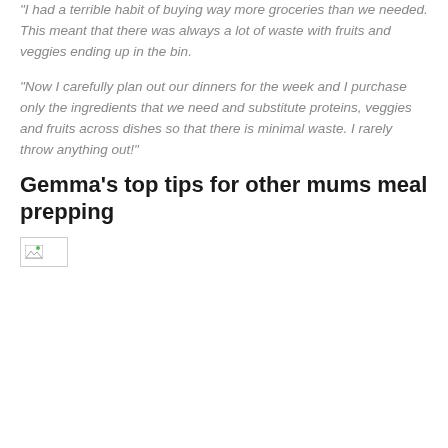“I had a terrible habit of buying way more groceries than we needed. This meant that there was always a lot of waste with fruits and veggies ending up in the bin.
“Now I carefully plan out our dinners for the week and I purchase only the ingredients that we need and substitute proteins, veggies and fruits across dishes so that there is minimal waste. I rarely throw anything out!”
Gemma’s top tips for other mums meal prepping
[Figure (photo): A broken/unloaded image placeholder with a small thumbnail icon in the top-left corner]